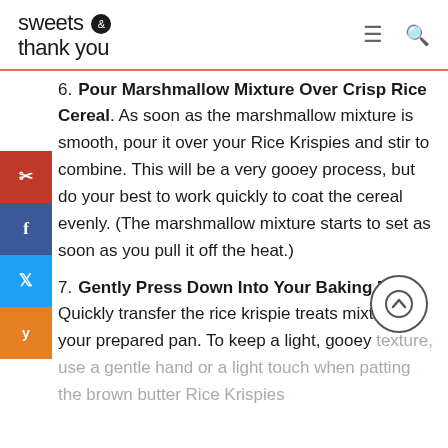sweets & thank you
Pour Marshmallow Mixture Over Crisp Rice Cereal. As soon as the marshmallow mixture is smooth, pour it over your Rice Krispies and stir to combine. This will be a very gooey process, but do your best to work quickly to coat the cereal evenly. (The marshmallow mixture starts to set as soon as you pull it off the heat.)
Gently Press Down Into Your Baking Pan. Quickly transfer the rice krispie treats mixture to your prepared pan. To keep a light, gooey texture, use a gentle hand or a light touch when patting the brown butter Rice Krispies